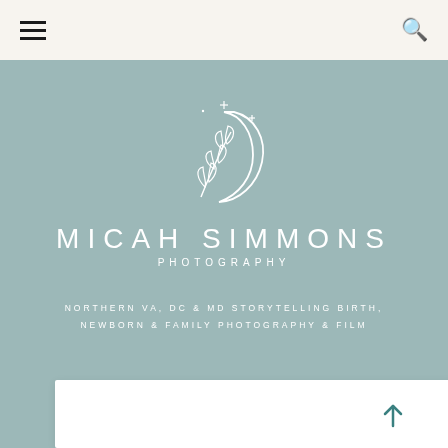Navigation bar with hamburger menu and search icon
[Figure (logo): Micah Simmons Photography logo — crescent moon with botanical leaf branch and star sparkles, white line art on sage green background, with text MICAH SIMMONS PHOTOGRAPHY]
NORTHERN VA, DC & MD STORYTELLING BIRTH, NEWBORN & FAMILY PHOTOGRAPHY & FILM
[Figure (other): White card/panel at the bottom of the hero section on sage green background, with an upward arrow button in teal]